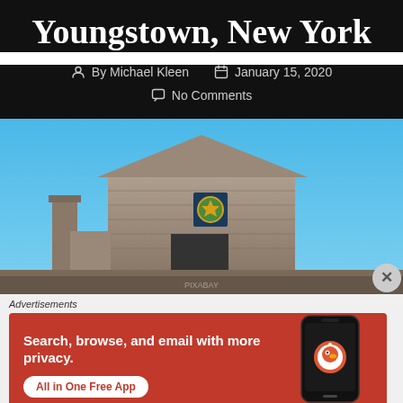Youngstown, New York
By Michael Kleen   January 15, 2020   No Comments
[Figure (photo): Photograph of a historic stone fort or building with a blue sky background, featuring a chimney/tower on the left and a coat of arms emblem on the front facade. Bottom of image has a partially visible watermark.]
Advertisements
[Figure (screenshot): DuckDuckGo advertisement banner. Orange/red background with text: Search, browse, and email with more privacy. All in One Free App. Shows a smartphone with DuckDuckGo app and logo.]